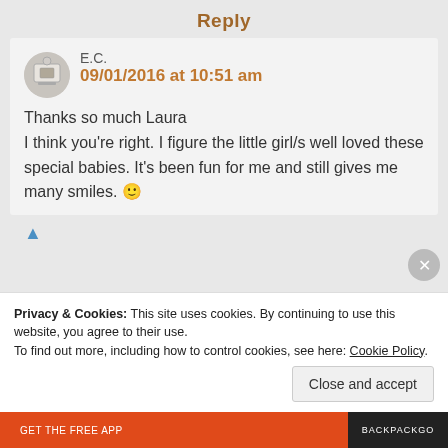Reply
E.C.
09/01/2016 at 10:51 am
Thanks so much Laura
I think you're right. I figure the little girl/s well loved these special babies. It's been fun for me and still gives me many smiles. 🙂
Privacy & Cookies: This site uses cookies. By continuing to use this website, you agree to their use.
To find out more, including how to control cookies, see here: Cookie Policy.